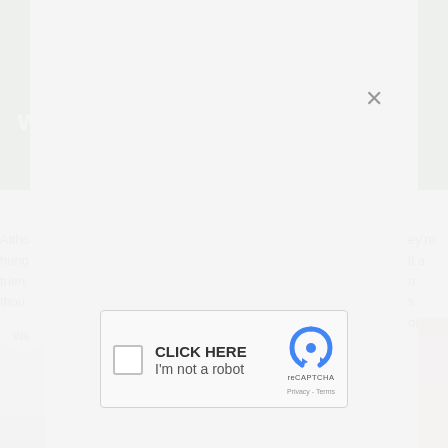[Figure (screenshot): Screenshot of a webpage with a modal overlay containing a reCAPTCHA widget. The background shows a partial article with dark green header bar, article text fragments visible on left and right sides, and images at the bottom. A close X button appears at top-right of the modal. The reCAPTCHA widget shows a checkbox, 'CLICK HERE' and 'I'm not a robot' text, the reCAPTCHA logo, and Privacy - Terms links.]